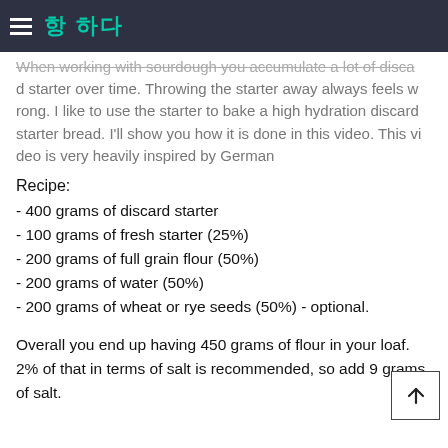≡  [Korean/CJK characters]
When working with sourdough you accumulate a lot of discard starter over time. Throwing the starter away always feels wrong. I like to use the starter to bake a high hydration discard starter bread. I'll show you how it is done in this video. This video is very heavily inspired by German
Recipe:
- 400 grams of discard starter
- 100 grams of fresh starter (25%)
- 200 grams of full grain flour (50%)
- 200 grams of water (50%)
- 200 grams of wheat or rye seeds (50%) - optional.
Overall you end up having 450 grams of flour in your loaf. 2% of that in terms of salt is recommended, so add 9 grams of salt.